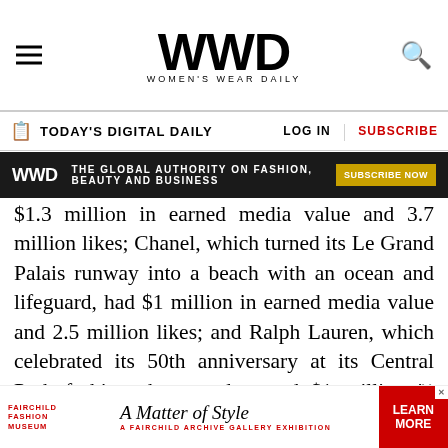WWD — Women's Wear Daily
TODAY'S DIGITAL DAILY | LOG IN | SUBSCRIBE
[Figure (infographic): Dark banner ad: WWD logo, tagline 'THE GLOBAL AUTHORITY ON FASHION, BEAUTY AND BUSINESS', orange SUBSCRIBE NOW button]
$1.3 million in earned media value and 3.7 million likes; Chanel, which turned its Le Grand Palais runway into a beach with an ocean and lifeguard, had $1 million in earned media value and 2.5 million likes; and Ralph Lauren, which celebrated its 50th anniversary at its Central Park fashion show, and scored $1 million in earned media value and had 5.5 million likes.
TAGS
[Figure (infographic): Bottom ad banner: Fairchild Fashion Museum logo, 'A Matter of Style' italic text, 'A FAIRCHILD ARCHIVE GALLERY EXHIBITION' tagline, red LEARN MORE button with close X]